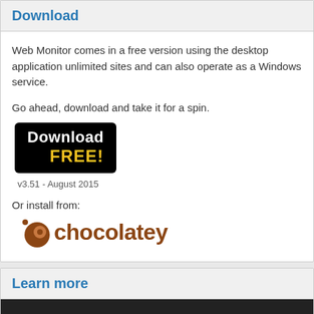Download
Web Monitor comes in a free version using the desktop application unlimited sites and can also operate as a Windows service.
Go ahead, download and take it for a spin.
[Figure (illustration): Black button with white text 'Download' and yellow text 'FREE!']
v3.51 - August 2015
Or install from:
[Figure (logo): Chocolatey logo with brown circle icon and brown text 'chocolatey']
Learn more